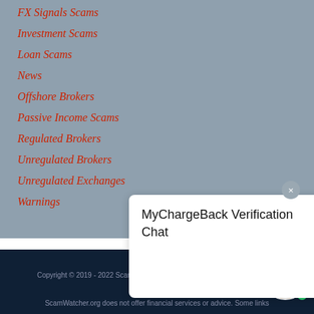FX Signals Scams
Investment Scams
Loan Scams
News
Offshore Brokers
Passive Income Scams
Regulated Brokers
Unregulated Brokers
Unregulated Exchanges
Warnings
MyChargeBack Verification Chat
Copyright © 2019 - 2022 ScamWatcher.org - All Rights Reserved
ScamWatcher.org does not offer financial services or advice. Some links